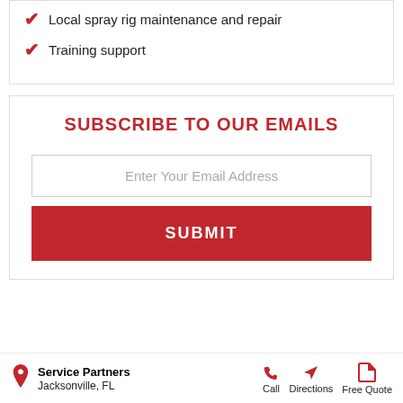Local spray rig maintenance and repair
Training support
SUBSCRIBE TO OUR EMAILS
Enter Your Email Address
SUBMIT
Service Partners
Jacksonville, FL